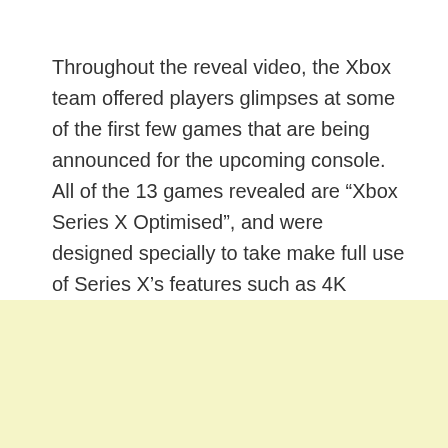Throughout the reveal video, the Xbox team offered players glimpses at some of the first few games that are being announced for the upcoming console. All of the 13 games revealed are “Xbox Series X Optimised”, and were designed specially to take make full use of Series X’s features such as 4K resolutions and fast loading times.
Read More: ‘Assassin’s Creed: Valhalla’ will launch on Epic Games, not Steam